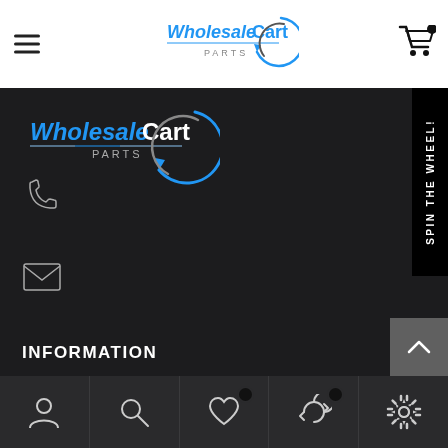[Figure (logo): Wholesale Cart Parts logo in top white header bar]
[Figure (logo): Wholesale Cart Parts logo in dark section]
[Figure (infographic): Phone icon in dark section]
[Figure (infographic): Email envelope icon in dark section]
INFORMATION
[Figure (infographic): SPIN THE WHEEL vertical button on right side]
[Figure (infographic): Scroll up arrow button]
[Figure (infographic): Bottom navigation bar with person, search, heart, refresh, settings icons]